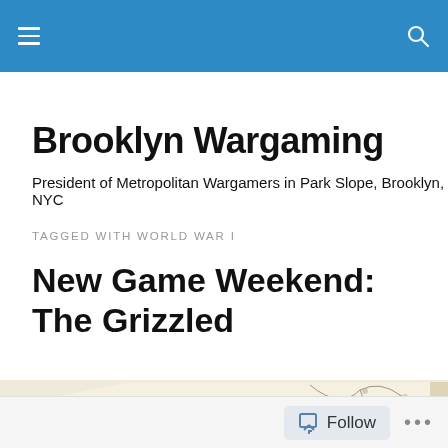Brooklyn Wargaming — site header navigation bar
Brooklyn Wargaming
President of Metropolitan Wargamers in Park Slope, Brooklyn, NYC
TAGGED WITH WORLD WAR I
New Game Weekend: The Grizzled
[Figure (photo): Box cover of The Grizzled board game showing stylized art with cursive title and a red badge reading 'Cooperative game']
Follow  •••